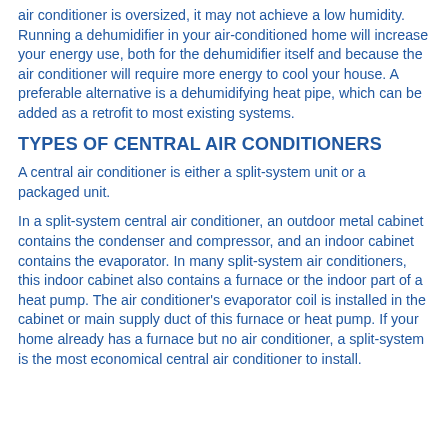air conditioner is oversized, it may not achieve a low humidity. Running a dehumidifier in your air-conditioned home will increase your energy use, both for the dehumidifier itself and because the air conditioner will require more energy to cool your house. A preferable alternative is a dehumidifying heat pipe, which can be added as a retrofit to most existing systems.
TYPES OF CENTRAL AIR CONDITIONERS
A central air conditioner is either a split-system unit or a packaged unit.
In a split-system central air conditioner, an outdoor metal cabinet contains the condenser and compressor, and an indoor cabinet contains the evaporator. In many split-system air conditioners, this indoor cabinet also contains a furnace or the indoor part of a heat pump. The air conditioner's evaporator coil is installed in the cabinet or main supply duct of this furnace or heat pump. If your home already has a furnace but no air conditioner, a split-system is the most economical central air conditioner to install.